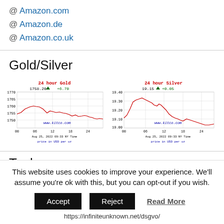@ Amazon.com
@ Amazon.de
@ Amazon.co.uk
Gold/Silver
[Figure (continuous-plot): 24 hour Gold price chart showing 1758.20 +6.70, price in USD per oz, Aug 25, 2022 09:33 NY Time, www.kitco.com. Y-axis: 1750 to 1770, X-axis: 00 to 24 hours.]
[Figure (continuous-plot): 24 hour Silver price chart showing 19.15 +0.05, price in USD per oz, Aug 25, 2022 09:33 NY Time, www.kitco.com. Y-axis: 19.00 to 19.40, X-axis: 00 to 24 hours.]
Tools
This website uses cookies to improve your experience. We'll assume you're ok with this, but you can opt-out if you wish.
https://infiniteunknown.net/dsgvo/